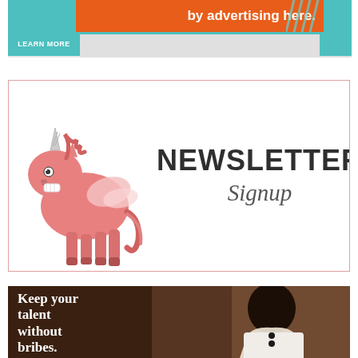[Figure (infographic): Top advertisement banner with orange and teal colors, showing 'by advertising here.' text in white on orange background, with 'LEARN MORE' on teal block on left]
[Figure (infographic): Newsletter signup banner with a cartoon unicorn/pegasus illustration on the left and 'NEWSLETTER Signup' text on the right, inside a pale pink-bordered box]
[Figure (photo): Bottom promotional image with dark brown background showing a young Black man in a white shirt, with white serif text overlay reading 'Keep your talent without bribes.']